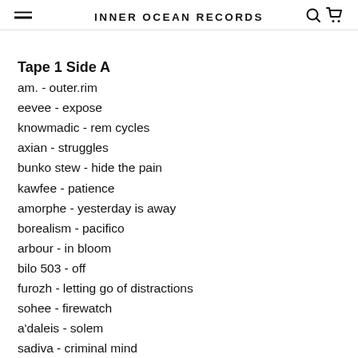INNER OCEAN RECORDS
Tape 1 Side A
am. - outer.rim
eevee - expose
knowmadic - rem cycles
axian - struggles
bunko stew - hide the pain
kawfee - patience
amorphe - yesterday is away
borealism - pacifico
arbour - in bloom
bilo 503 - off
furozh - letting go of distractions
sohee - firewatch
a'daleis - solem
sadiva - criminal mind
stlndrms - backpack